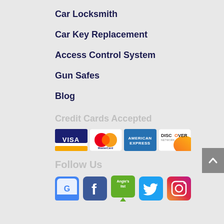Car Locksmith
Car Key Replacement
Access Control System
Gun Safes
Blog
Credit Cards Accepted
[Figure (illustration): Credit card logos: Visa, MasterCard, American Express, Discover]
Follow Us
[Figure (illustration): Social media icons: Google, Facebook, Angie's List, Twitter, Instagram]